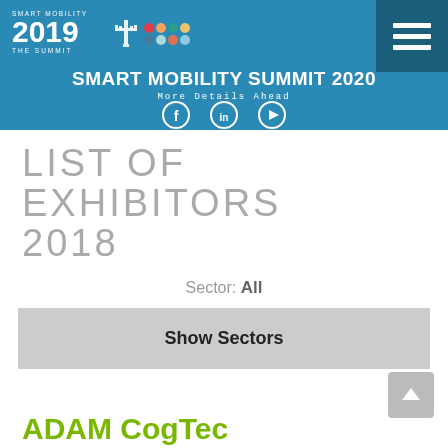SMART MOBILITY 2019 THE SUMMIT
SMART MOBILITY SUMMIT 2020
More details ahead
[Figure (other): Social media icons: Facebook, LinkedIn, YouTube in white circles]
LIST OF EXHIBITORS 2018
Sector: All
Show Sectors
ADAM CogTec